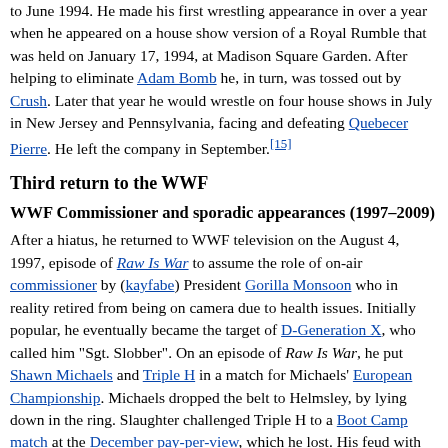to June 1994. He made his first wrestling appearance in over a year when he appeared on a house show version of a Royal Rumble that was held on January 17, 1994, at Madison Square Garden. After helping to eliminate Adam Bomb he, in turn, was tossed out by Crush. Later that year he would wrestle on four house shows in July in New Jersey and Pennsylvania, facing and defeating Quebecer Pierre. He left the company in September.[15]
Third return to the WWF
WWF Commissioner and sporadic appearances (1997–2009)
After a hiatus, he returned to WWF television on the August 4, 1997, episode of Raw Is War to assume the role of on-air commissioner by (kayfabe) President Gorilla Monsoon who in reality retired from being on camera due to health issues. Initially popular, he eventually became the target of D-Generation X, who called him "Sgt. Slobber". On an episode of Raw Is War, he put Shawn Michaels and Triple H in a match for Michaels' European Championship. Michaels dropped the belt to Helmsley, by lying down in the ring. Slaughter challenged Triple H to a Boot Camp match at the December pay-per-view, which he lost. His feud with Triple H continued into WrestleMania XIV where he handcuffed himself to Chyna to prevent her from interfering with Helmsley's